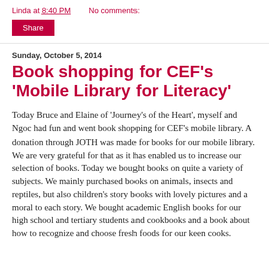Linda at 8:40 PM    No comments:
Share
Sunday, October 5, 2014
Book shopping for CEF's 'Mobile Library for Literacy'
Today Bruce and Elaine of 'Journey's of the Heart', myself and Ngoc had fun and went book shopping for CEF's mobile library. A donation through JOTH was made for books for our mobile library. We are very grateful for that as it has enabled us to increase our selection of books. Today we bought books on quite a variety of subjects. We mainly purchased books on animals, insects and reptiles, but also children's story books with lovely pictures and a moral to each story. We bought academic English books for our high school and tertiary students and cookbooks and a book about how to recognize and choose fresh foods for our keen cooks.